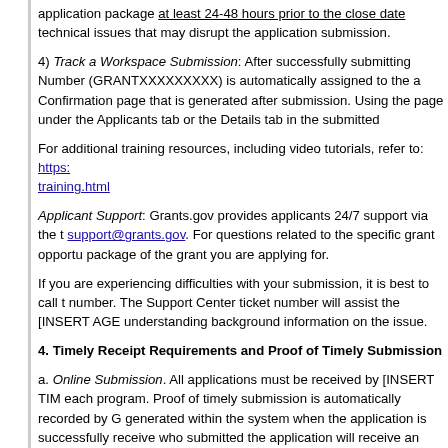application package at least 24-48 hours prior to the close date technical issues that may disrupt the application submission.
4) Track a Workspace Submission: After successfully submitting Number (GRANTXXXXXXXXX) is automatically assigned to the a Confirmation page that is generated after submission. Using the page under the Applicants tab or the Details tab in the submitted
For additional training resources, including video tutorials, refer to: https://training.html
Applicant Support: Grants.gov provides applicants 24/7 support via the support@grants.gov. For questions related to the specific grant opportu package of the grant you are applying for.
If you are experiencing difficulties with your submission, it is best to call number. The Support Center ticket number will assist the [INSERT AGE understanding background information on the issue.
4. Timely Receipt Requirements and Proof of Timely Submission
a. Online Submission. All applications must be received by [INSERT TIM each program. Proof of timely submission is automatically recorded by G generated within the system when the application is successfully receive who submitted the application will receive an acknowledgement of recei from Grants.gov with the successful transmission of their application. Th official date/time stamp and Grants.gov Tracking number in an email ser